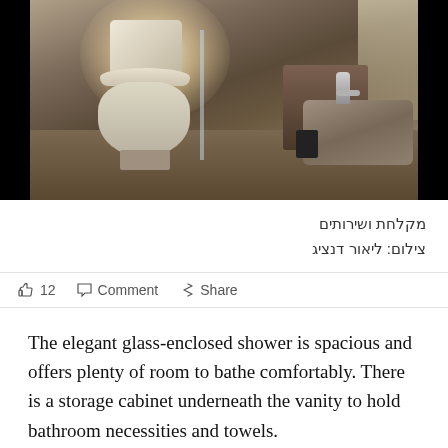[Figure (photo): Bathroom interior with toilet, glass-enclosed shower, vanity cabinet, and sink with faucet. Photo taken from above with bright light bloom near top. Dark/black borders on sides.]
מקלחת ושירותים
צילום: ליאור דנציג
12  Comment  Share
The elegant glass-enclosed shower is spacious and offers plenty of room to bathe comfortably. There is a storage cabinet underneath the vanity to hold bathroom necessities and towels.